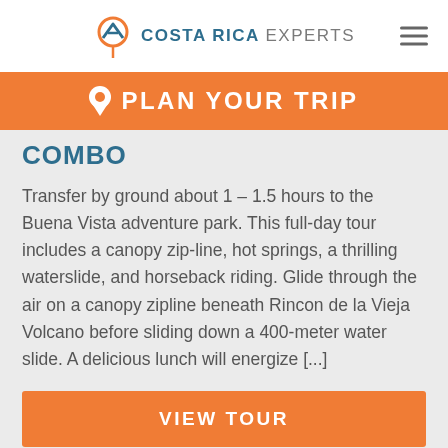COSTA RICA EXPERTS
PLAN YOUR TRIP
COMBO
Transfer by ground about 1 – 1.5 hours to the Buena Vista adventure park. This full-day tour includes a canopy zip-line, hot springs, a thrilling waterslide, and horseback riding. Glide through the air on a canopy zipline beneath Rincon de la Vieja Volcano before sliding down a 400-meter water slide. A delicious lunch will energize [...]
VIEW TOUR